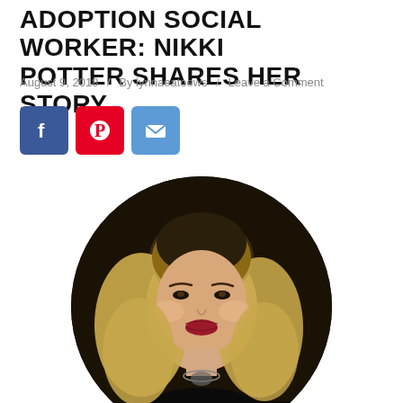ADOPTION SOCIAL WORKER: NIKKI POTTER SHARES HER STORY
August 9, 2018  /  By lynnaeatoews  /  Leave a Comment
[Figure (other): Social media sharing icons: Facebook (blue), Pinterest (red), Email (blue)]
[Figure (photo): Circular portrait photo of Nikki Potter, a woman with long blonde hair, wearing a black outfit and a statement necklace, smiling with red lipstick, seated in a dark setting.]